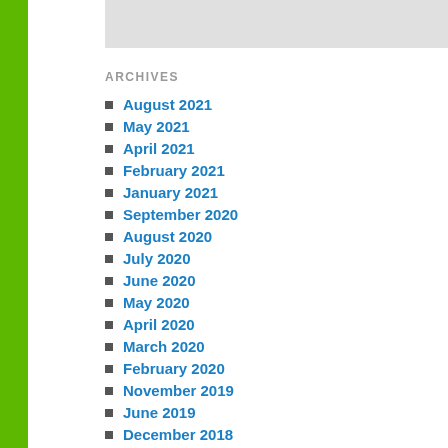ARCHIVES
August 2021
May 2021
April 2021
February 2021
January 2021
September 2020
August 2020
July 2020
June 2020
May 2020
April 2020
March 2020
February 2020
November 2019
June 2019
December 2018
October 2018